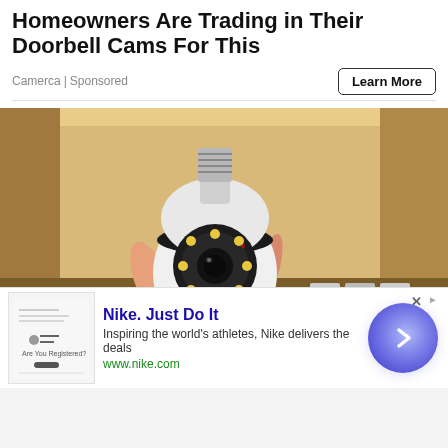Homeowners Are Trading in Their Doorbell Cams For This
Camerca | Sponsored
[Figure (photo): A hand holding a white light-bulb shaped security camera device with LED ring around the lens, against a cardboard box background]
[Figure (screenshot): Nike advertisement banner: Nike. Just Do It — Inspiring the world's athletes, Nike delivers the deals — www.nike.com — with a blue circular arrow button on the right]